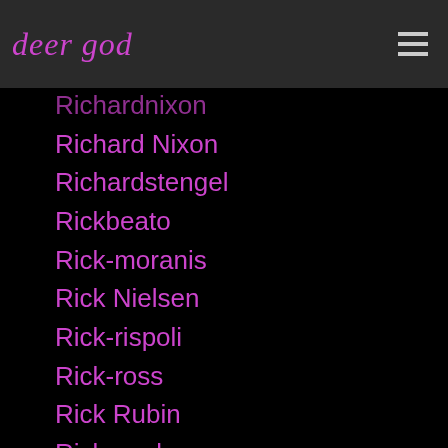deer god
Richardnixon
Richard Nixon
Richardstengel
Rickbeato
Rick-moranis
Rick Nielsen
Rick-rispoli
Rick-ross
Rick Rubin
Ricky-nelson
Ric Ocasek
Ride
Ridley-scott
Righteous-brothers
Rig-rundown
Rihanna
Riki